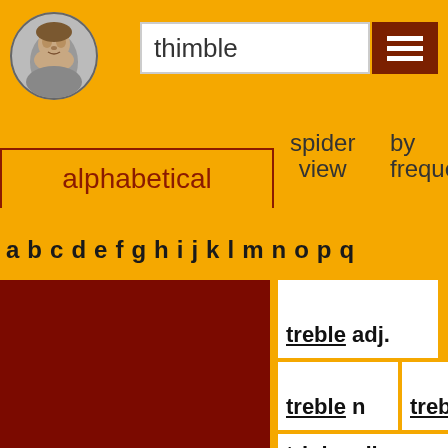[Figure (illustration): Shakespeare portrait in circular frame]
thimble
[Figure (other): Hamburger menu icon (three horizontal lines) on dark red background]
alphabetical
spider view
by frequency by
a b c d e f g h i j k l m n o p q
treble adj
treble n
treb
triple adj